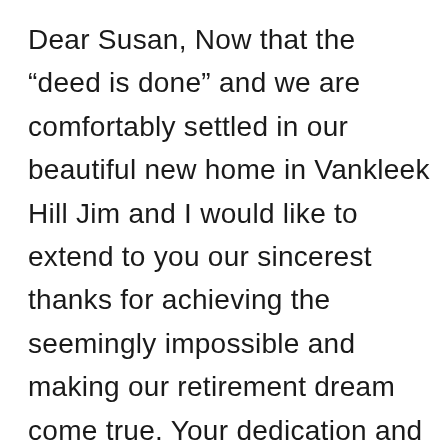Dear Susan, Now that the “deed is done” and we are comfortably settled in our beautiful new home in Vankleek Hill Jim and I would like to extend to you our sincerest thanks for achieving the seemingly impossible and making our retirement dream come true. Your dedication and diligence, professionalism and expertise in the field of realty are unparalleled. The warmth of your personality coupled with your humanity and patience were instrumental in the achievement of our goals. With your help and constant attention to detail we were able, after two years of searching for our dream house and having made a conditional offer , to stage and sell our home in Westmount within 3 weeks and at a price beyond our wildest